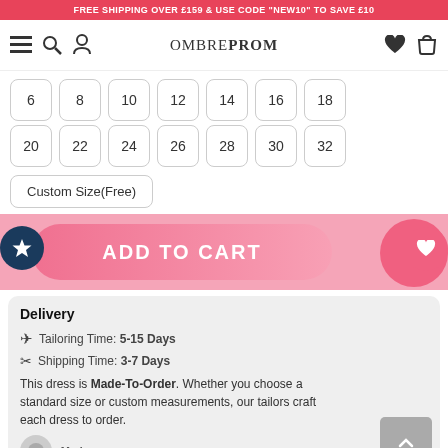FREE SHIPPING OVER £159 & USE CODE "NEW10" TO SAVE £10
[Figure (screenshot): OmbreProm website navigation bar with hamburger menu, search, account icons on left, OMBREPROM logo in center, heart and cart icons on right]
6
8
10
12
14
16
18
20
22
24
26
28
30
32
Custom Size(Free)
ADD TO CART
Delivery
Tailoring Time: 5-15 Days
Shipping Time: 3-7 Days
This dress is Made-To-Order. Whether you choose a standard size or custom measurements, our tailors craft each dress to order.
[Figure (illustration): Made-to-order icon showing a sewing/tailoring symbol]